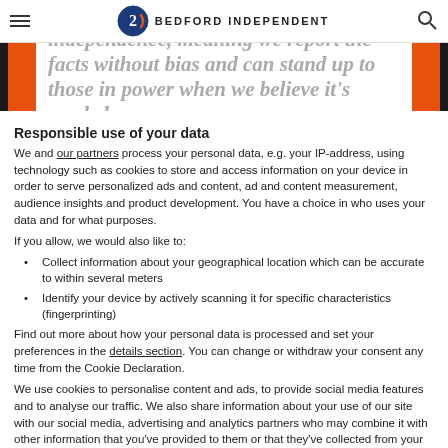BEDFORD INDEPENDENT
[Figure (illustration): Partially visible hero banner with orange side bars and bold italic text reading 'independence, meaning we report the facts without bias and can stand up to those in power when we believe it's needed.']
Responsible use of your data
We and our partners process your personal data, e.g. your IP-address, using technology such as cookies to store and access information on your device in order to serve personalized ads and content, ad and content measurement, audience insights and product development. You have a choice in who uses your data and for what purposes.
If you allow, we would also like to:
Collect information about your geographical location which can be accurate to within several meters
Identify your device by actively scanning it for specific characteristics (fingerprinting)
Find out more about how your personal data is processed and set your preferences in the details section. You can change or withdraw your consent any time from the Cookie Declaration.
We use cookies to personalise content and ads, to provide social media features and to analyse our traffic. We also share information about your use of our site with our social media, advertising and analytics partners who may combine it with other information that you've provided to them or that they've collected from your use of their services.
Use necessary cookies only
Show details